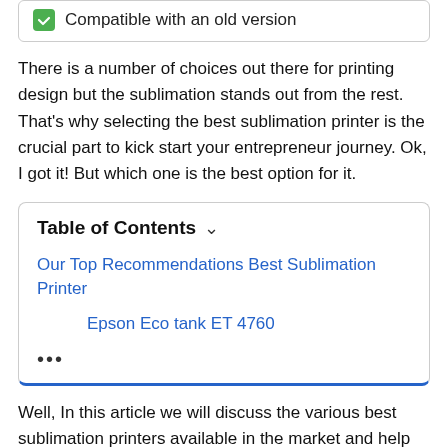Compatible with an old version
There is a number of choices out there for printing design but the sublimation stands out from the rest. That's why selecting the best sublimation printer is the crucial part to kick start your entrepreneur journey. Ok, I got it! But which one is the best option for it.
| Table of Contents |
| Our Top Recommendations Best Sublimation Printer |
| Epson Eco tank ET 4760 |
| ••• |
Well, In this article we will discuss the various best sublimation printers available in the market and help you out to choose the best sublimation printer.